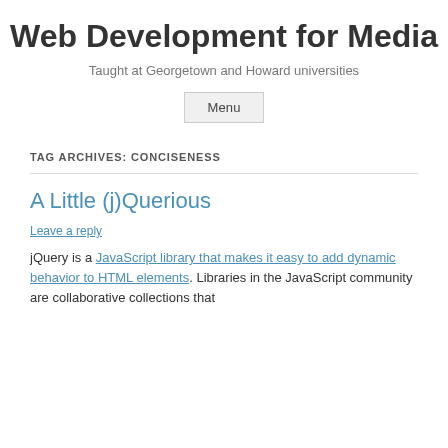Web Development for Media
Taught at Georgetown and Howard universities
Menu
TAG ARCHIVES: CONCISENESS
A Little (j)Querious
Leave a reply
jQuery is a JavaScript library that makes it easy to add dynamic behavior to HTML elements. Libraries in the JavaScript community are collaborative collections that